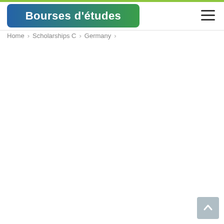[Figure (logo): Bourses d'études logo with blue-to-green gradient background and white bold text]
Home > Scholarships C > Germany >